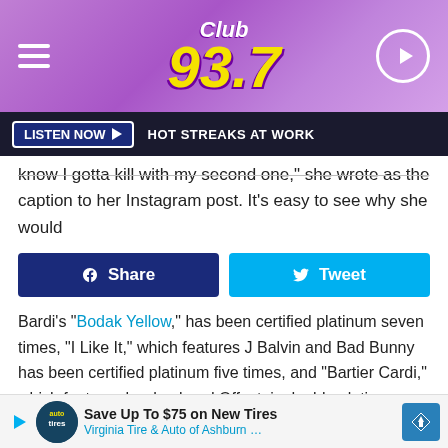Club 93.7
LISTEN NOW ▶ HOT STREAKS AT WORK
know I gotta kill with my second one, she wrote as the caption to her Instagram post. It's easy to see why she would
Share   Tweet
Bardi's "Bodak Yellow," has been certified platinum seven times, "I Like It," which features J Balvin and Bad Bunny has been certified platinum five times, and "Bartier Cardi," which features her husband Offset, is double platinum. Her tracks "Ring," "I Do," and "Drip" have all been certified platinum. Lastly, gold status is awarded to "Bickenhead," "Money Bag," "Get Up 10," "Best Life," "She Bad," and "Thru Your Phone."
Invasio...
Save Up To $75 on New Tires  Virginia Tire & Auto of Ashburn ...